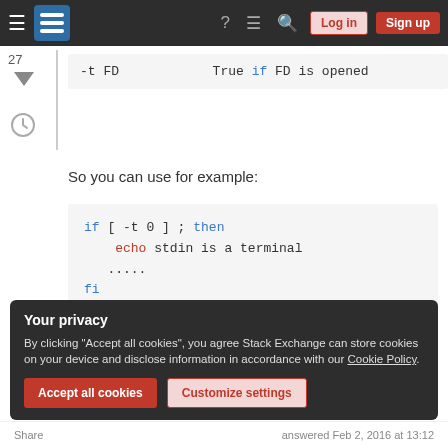Stack Exchange navigation bar with Log in and Sign up buttons
[Figure (screenshot): Code table snippet showing: -t FD    True if FD is opened]
So you can use for example:
[Figure (screenshot): Code block: if [ -t 0 ] ; then
    echo stdin is a terminal
.....
fi]
Your privacy
By clicking "Accept all cookies", you agree Stack Exchange can store cookies on your device and disclose information in accordance with our Cookie Policy.
Accept all cookies  Customize settings
Share    answered Feb 2, 2016 at 13:12